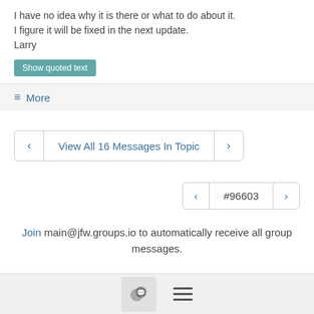I have no idea why it is there or what to do about it.
I figure it will be fixed in the next update.
Larry
Show quoted text
≡ More
View All 16 Messages In Topic
#96603
Join main@jfw.groups.io to automatically receive all group messages.
[Figure (screenshot): Bottom navigation bar with chat icon button and hamburger menu icon]